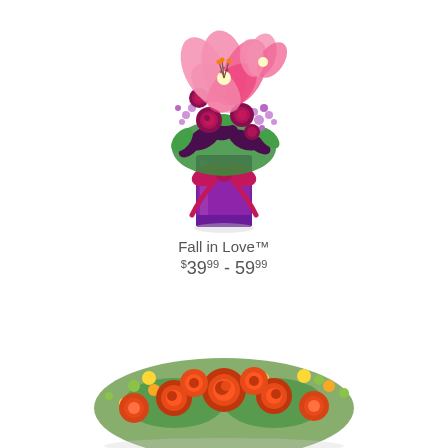[Figure (photo): Floral arrangement called Fall in Love: mixed flowers including pink lilies, dark red/burgundy roses, purple wax flowers, and deep purple foliage in a tall rectangular purple glass vase with a large magenta ribbon bow tied around it. White background.]
Fall in Love™
$39.99 - 59.99
[Figure (photo): Floral arrangement (partially visible, cropped): orange and red roses with yellow button flowers and green accent foliage arranged in a low, wide bouquet. White background.]